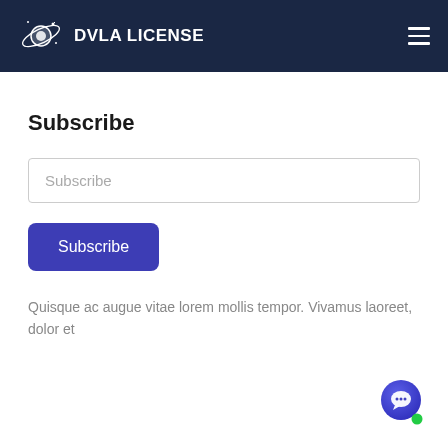DVLA LICENSE
Subscribe
Subscribe
Subscribe
Quisque ac augue vitae lorem mollis tempor. Vivamus laoreet, dolor et